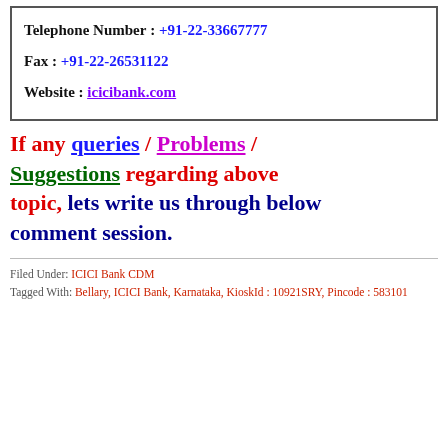Telephone Number : +91-22-33667777
Fax : +91-22-26531122
Website : icicibank.com
If any queries / Problems / Suggestions regarding above topic, lets write us through below comment session.
Filed Under: ICICI Bank CDM
Tagged With: Bellary, ICICI Bank, Karnataka, KioskId : 10921SRY, Pincode : 583101